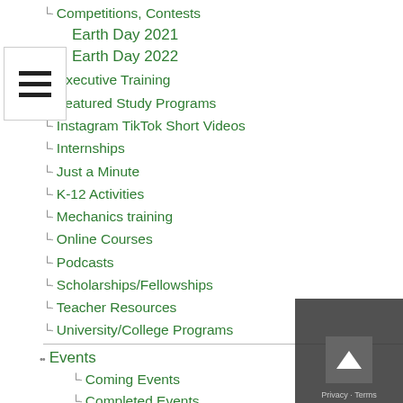Competitions, Contests
Earth Day 2021
Earth Day 2022
Executive Training
Featured Study Programs
Instagram TikTok Short Videos
Internships
Just a Minute
K-12 Activities
Mechanics training
Online Courses
Podcasts
Scholarships/Fellowships
Teacher Resources
University/College Programs
Events
Coming Events
Completed Events
More Coming Events
Requests for Speakers, Presentations, Posters
Requests for Speakers, Presentations, Posters Completed
Webinars/Online
Webinars/Online Completed; often available on-demand